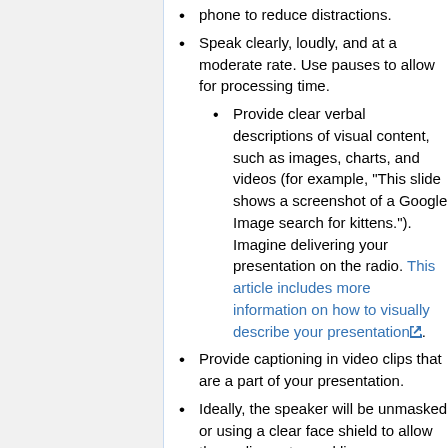phone to reduce distractions.
Speak clearly, loudly, and at a moderate rate. Use pauses to allow for processing time.
Provide clear verbal descriptions of visual content, such as images, charts, and videos (for example, "This slide shows a screenshot of a Google Image search for kittens."). Imagine delivering your presentation on the radio. This article includes more information on how to visually describe your presentation.
Provide captioning in video clips that are a part of your presentation.
Ideally, the speaker will be unmasked or using a clear face shield to allow the audience to read lips or expressions.